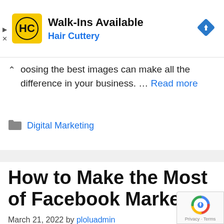[Figure (advertisement): Hair Cuttery ad banner with yellow HC logo, 'Walk-Ins Available' heading, 'Hair Cuttery' subheading in blue, and a blue diamond navigation icon on the right]
...oosing the best images can make all the difference in your business. ... Read more
Digital Marketing
How to Make the Most of Facebook Marketing
March 21, 2022 by ploluadmin
[Figure (logo): Google reCAPTCHA badge with Privacy and Terms links]